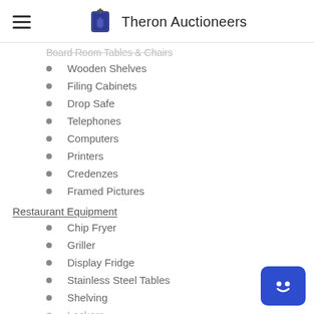Theron Auctioneers
Board Room Tables & Chairs (truncated/faded)
Wooden Shelves
Filing Cabinets
Drop Safe
Telephones
Computers
Printers
Credenzes
Framed Pictures
Restaurant Equipment
Chip Fryer
Griller
Display Fridge
Stainless Steel Tables
Shelving
Lockers